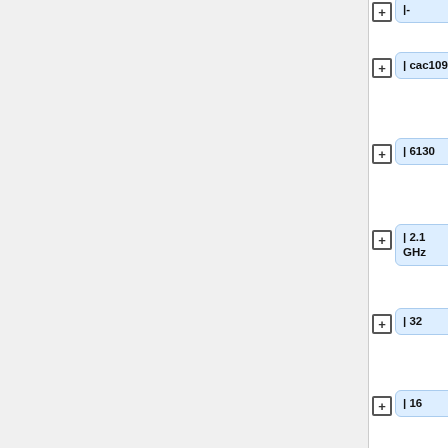| -
| cac109
| 6130
| 2.1 GHz
| 32
| 16
| 2
| avx2, sse3, 1xV100 GPU
| 191 GB
|-
| cac111<ref name=contrib> This node is contributed and has a 2 hour...